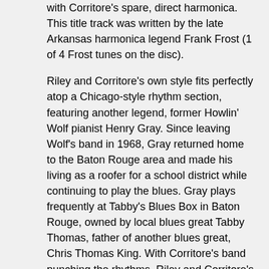with Corritore's spare, direct harmonica. This title track was written by the late Arkansas harmonica legend Frank Frost (1 of 4 Frost tunes on the disc).
Riley and Corritore's own style fits perfectly atop a Chicago-style rhythm section, featuring another legend, former Howlin' Wolf pianist Henry Gray. Since leaving Wolf's band in 1968, Gray returned home to the Baton Rouge area and made his living as a roofer for a school district while continuing to play the blues. Gray plays frequently at Tabby's Blues Box in Baton Rouge, owned by local blues great Tabby Thomas, father of another blues great, Chris Thomas King. With Corritore's band punching the rhythms, Riley and Corritore's Delta-styled approach melds the songs. Above all, Dave Riley's voice stands out, from the weariness of a man who spent most of his life working as a farmhand and later as an Illinois prison guard to bemused songs of relationships like “Ride With Your Daddy Tonight” . 60s years has not worn down Riley's voice, just seasoned it well for a welcome CD of straight-ahead blues. The lack of of an electric guitar in Riley's hands suits for this music. His acoustic playing gives this blues a better direction than the endless releases of electric guitar technical masters who go for the flash and not the feel.
Finding this CD by chance is one of those moments reminding a